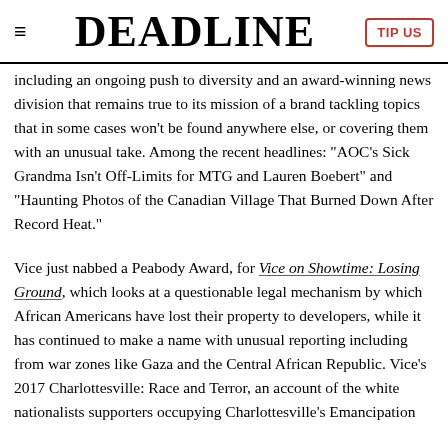DEADLINE
including an ongoing push to diversity and an award-winning news division that remains true to its mission of a brand tackling topics that in some cases won't be found anywhere else, or covering them with an unusual take. Among the recent headlines: "AOC's Sick Grandma Isn't Off-Limits for MTG and Lauren Boebert" and "Haunting Photos of the Canadian Village That Burned Down After Record Heat."
Vice just nabbed a Peabody Award, for Vice on Showtime: Losing Ground, which looks at a questionable legal mechanism by which African Americans have lost their property to developers, while it has continued to make a name with unusual reporting including from war zones like Gaza and the Central African Republic. Vice's 2017 Charlottesville: Race and Terror, an account of the white nationalists supporters occupying Charlottesville's Emancipation